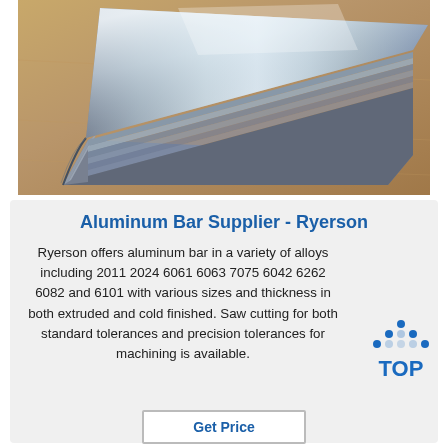[Figure (photo): Photo of stacked aluminum bar/sheet stock, metallic silver surface, on a tan/brown surface background.]
Aluminum Bar Supplier - Ryerson
Ryerson offers aluminum bar in a variety of alloys including 2011 2024 6061 6063 7075 6042 6262 6082 and 6101 with various sizes and thickness in both extruded and cold finished. Saw cutting for both standard tolerances and precision tolerances for machining is available.
[Figure (logo): TOP logo — blue dots arranged in a triangle above the text TOP in blue letters.]
Get Price